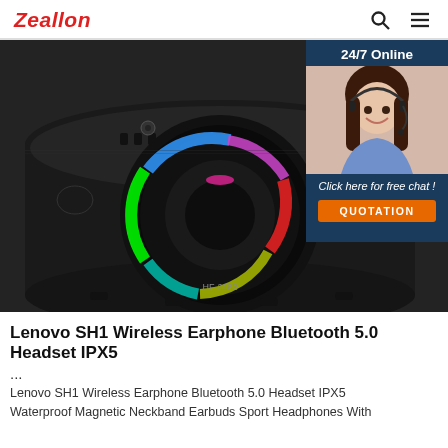Zeallon
[Figure (photo): Close-up top view of a black Bluetooth portable speaker (model HF-2182) with colorful RGB LED ring light around the woofer, control buttons and display on top panel. Overlaid with a 24/7 online chat widget showing a smiling female customer service agent with headset, text 'Click here for free chat!' and an orange QUOTATION button.]
Lenovo SH1 Wireless Earphone Bluetooth 5.0 Headset IPX5 ...
Lenovo SH1 Wireless Earphone Bluetooth 5.0 Headset IPX5 Waterproof Magnetic Neckband Earbuds Sport Headphones With